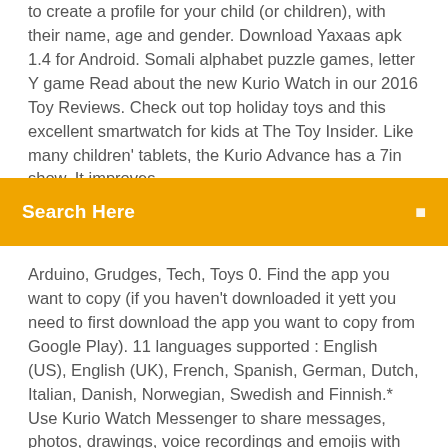to create a profile for your child (or children), with their name, age and gender. Download Yaxaas apk 1.4 for Android. Somali alphabet puzzle games, letter Y game Read about the new Kurio Watch in our 2016 Toy Reviews. Check out top holiday toys and this excellent smartwatch for kids at The Toy Insider. Like many children' tablets, the Kurio Advance has a 7in show. It improves
[Figure (other): Orange search bar with text 'Search Here' and a search icon on the right]
Arduino, Grudges, Tech, Toys 0. Find the app you want to copy (if you haven't downloaded it yett you need to first download the app you want to copy from Google Play). 11 languages supported : English (US), English (UK), French, Spanish, German, Dutch, Italian, Danish, Norwegian, Swedish and Finnish.* Use Kurio Watch Messenger to share messages, photos, drawings, voice recordings and emojis with other Kurio Watch users. Have fun with your friends and family! App store and Kurio 7. Does the Kurio 7 connects to the Apple app store? Or do I have to go